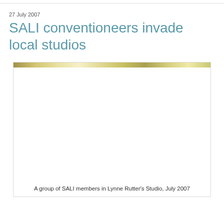27 July 2007
SALI conventioneers invade local studios
[Figure (photo): A photo of a group of SALI members in Lynne Rutter's Studio, July 2007. The image shows a gold/metallic bar at the top and the photo content below.]
A group of SALI members in Lynne Rutter's Studio, July 2007